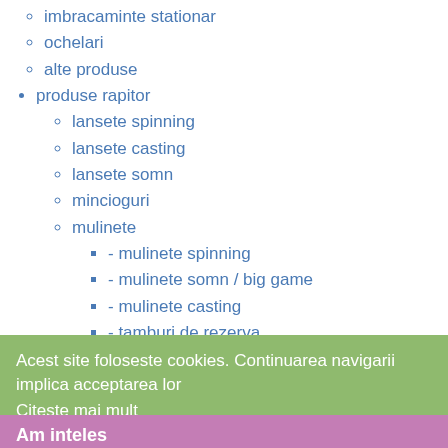imbracaminte stationar
ochelari
alte produse
produse rapitor
lansete spinning
lansete casting
lansete somn
mincioguri
mulinete
- mulinete spinning
- mulinete somn / big game
- mulinete casting
- tamburi de rezerva
fire
- monofilament
- multifilament
naluci
- voblere
- voblere apa sarata
- linguri oscilante
- lingurite rotative
- cicade
Acest site foloseste cookies. Continuarea navigarii implica acceptarea lor
Citeste mai mult
Am inteles